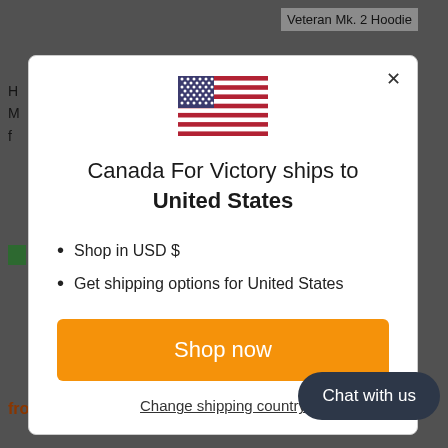Veteran Mk. 2 Hoodie
[Figure (screenshot): A modal dialog overlay on an e-commerce website showing a US flag and shipping information for Canada For Victory shipping to United States]
Canada For Victory ships to United States
Shop in USD $
Get shipping options for United States
Shop now
Change shipping country
Chat with us
from $14.99
Come On Canada World War 2